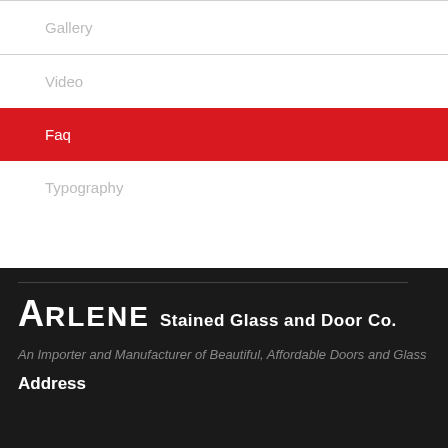Gallery
Video
Faq
Typography
ARLENE Stained Glass and Door Co.
An Importer and Manufacturer of Beautiful, Affordable Doors and Glass
Address